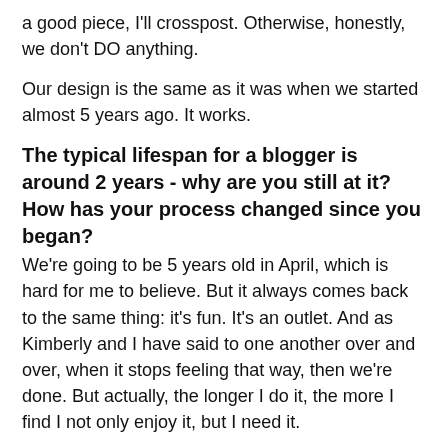a good piece, I'll crosspost. Otherwise, honestly, we don't DO anything.
Our design is the same as it was when we started almost 5 years ago. It works.
The typical lifespan for a blogger is around 2 years - why are you still at it? How has your process changed since you began?
We're going to be 5 years old in April, which is hard for me to believe. But it always comes back to the same thing: it's fun. It's an outlet. And as Kimberly and I have said to one another over and over, when it stops feeling that way, then we're done. But actually, the longer I do it, the more I find I not only enjoy it, but I need it.
In terms of process, I guess now more than before, I have lists of things I want to blog. I always have ideas written down in notebooks or on post-it notes or in draft emails or draft posts. I used to do all of my blogging for the week in one day, but now that I'm balancing Stacked and Book Riot and I do before and knowing there about the time and